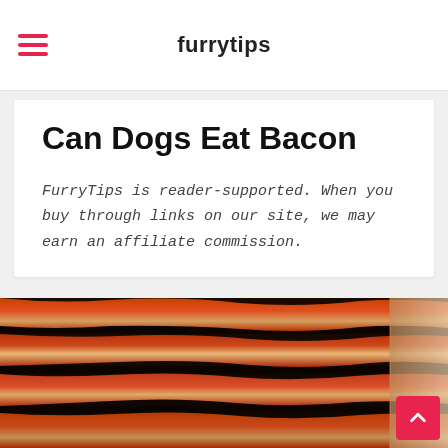furrytips
Can Dogs Eat Bacon
FurryTips is reader-supported. When you buy through links on our site, we may earn an affiliate commission.
[Figure (photo): Close-up photograph of several strips of cooked bacon on a dark grill or pan, showing crispy, reddish-brown and pink bacon strips.]